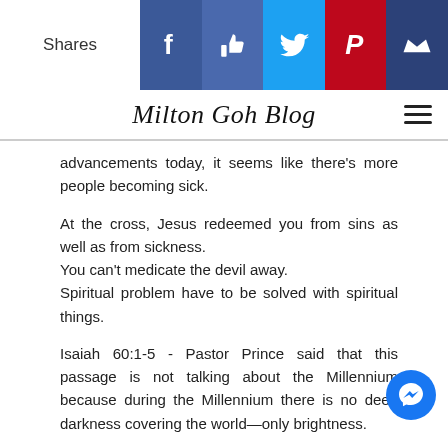Shares | Milton Goh Blog
advancements today, it seems like there's more people becoming sick.
At the cross, Jesus redeemed you from sins as well as from sickness.
You can't medicate the devil away.
Spiritual problem have to be solved with spiritual things.
Isaiah 60:1-5 - Pastor Prince said that this passage is not talking about the Millennium because during the Millennium there is no deep darkness covering the world—only brightness.
""Arise, shine; for your light has come, and Yahweh's glory has risen on you. For behold, darkness will cover the earth, and thick